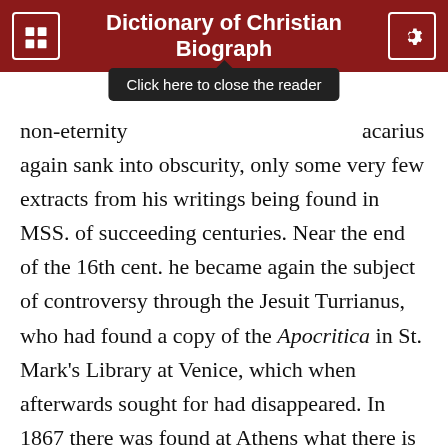Dictionary of Christian Biograph
non-eternity … Macarius again sank into obscurity, only some very few extracts from his writings being found in MSS. of succeeding centuries. Near the end of the 16th cent. he became again the subject of controversy through the Jesuit Turrianus, who had found a copy of the Apocritica in St. Mark's Library at Venice, which when afterwards sought for had disappeared. In 1867 there was found at Athens what there is good reason to believe was this copy, which, by theft or otherwise, had found its way to Greece. This was pub. by Paul Foucart (Paris, 1876). Shortly after